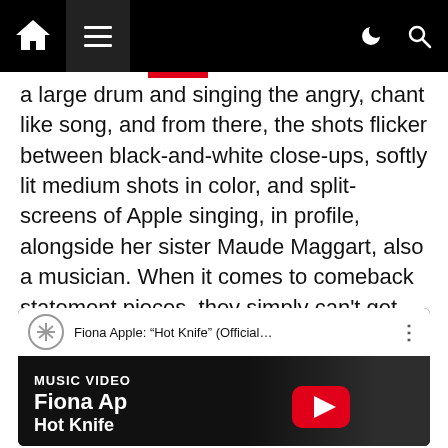Navigation bar with home icon, menu icon, dark mode and search icons
a large drum and singing the angry, chant like song, and from there, the shots flicker between black-and-white close-ups, softly lit medium shots in color, and split-screens of Apple singing, in profile, alongside her sister Maude Maggart, also a musician. When it comes to comeback statement pieces, they simply can't get much cooler than this.
[Figure (screenshot): Embedded YouTube video player showing Fiona Apple: 'Hot Knife' (Official...) with music video thumbnail. White top bar with YouTube logo circle and title. Dark thumbnail with text 'MUSIC VIDEO', 'Fiona Apple', 'Hot Knife' and red YouTube play button. Dark profile/silhouette of a person on the right side.]